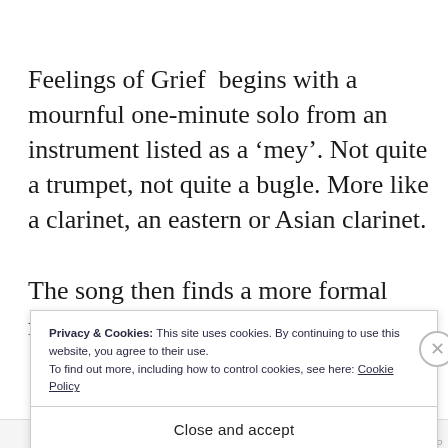Feelings of Grief  begins with a mournful one-minute solo from an instrument listed as a ‘mey’. Not quite a trumpet, not quite a bugle. More like a clarinet, an eastern or Asian clarinet.
The song then finds a more formal rhythm, a
Privacy & Cookies: This site uses cookies. By continuing to use this website, you agree to their use.
To find out more, including how to control cookies, see here: Cookie Policy
Close and accept